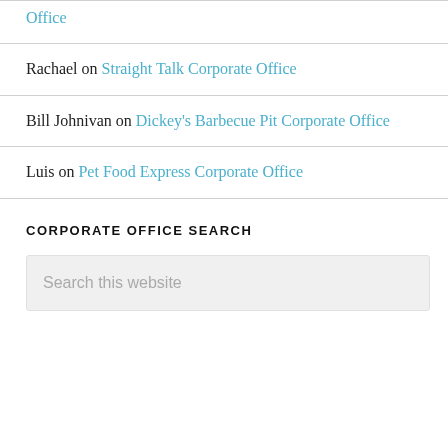Office
Rachael on Straight Talk Corporate Office
Bill Johnivan on Dickey's Barbecue Pit Corporate Office
Luis on Pet Food Express Corporate Office
CORPORATE OFFICE SEARCH
Search this website